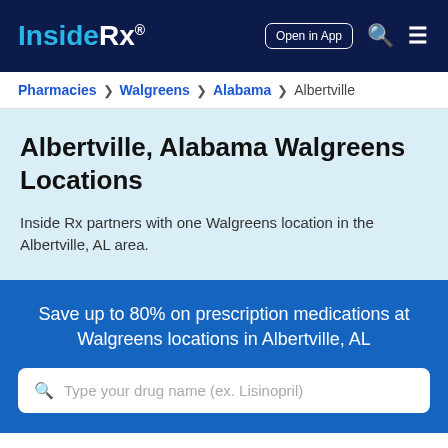Inside Rx® — Open in App
Pharmacies > Walgreens > Alabama > Albertville
Albertville, Alabama Walgreens Locations
Inside Rx partners with one Walgreens location in the Albertville, AL area.
Save up to 80% on prescription medications at Walgreens locations in Albertville, AL
Type your drug name (ex. Lisinopril)